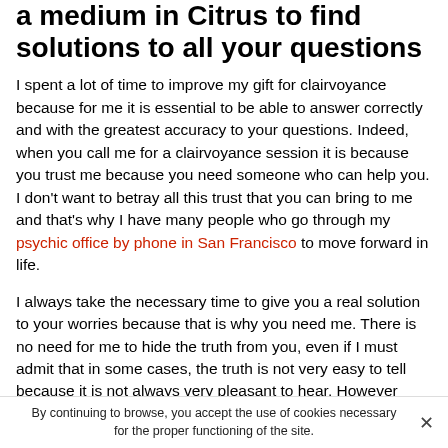a medium in Citrus to find solutions to all your questions
I spent a lot of time to improve my gift for clairvoyance because for me it is essential to be able to answer correctly and with the greatest accuracy to your questions. Indeed, when you call me for a clairvoyance session it is because you trust me because you need someone who can help you. I don't want to betray all this trust that you can bring to me and that's why I have many people who go through my psychic office by phone in San Francisco to move forward in life.
I always take the necessary time to give you a real solution to your worries because that is why you need me. There is no need for me to hide the truth from you, even if I must admit that in some cases, the truth is not very easy to tell because it is not always very pleasant to hear. However
By continuing to browse, you accept the use of cookies necessary for the proper functioning of the site.